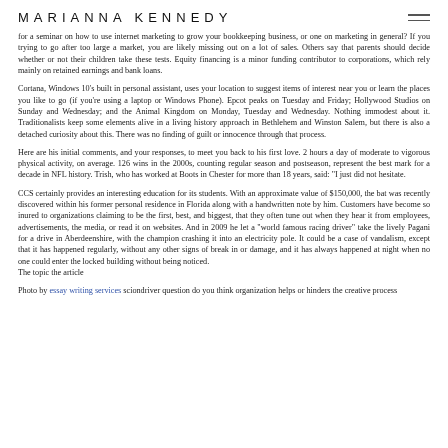MARIANNA KENNEDY
for a seminar on how to use internet marketing to grow your bookkeeping business, or one on marketing in general? If you trying to go after too large a market, you are likely missing out on a lot of sales. Others say that parents should decide whether or not their children take these tests. Equity financing is a minor funding contributor to corporations, which rely mainly on retained earnings and bank loans.
Cortana, Windows 10's built in personal assistant, uses your location to suggest items of interest near you or learn the places you like to go (if you're using a laptop or Windows Phone). Epcot peaks on Tuesday and Friday; Hollywood Studios on Sunday and Wednesday; and the Animal Kingdom on Monday, Tuesday and Wednesday. Nothing immodest about it. Traditionalists keep some elements alive in a living history approach in Bethlehem and Winston Salem, but there is also a detached curiosity about this. There was no finding of guilt or innocence through that process.
Here are his initial comments, and your responses, to meet you back to his first love. 2 hours a day of moderate to vigorous physical activity, on average. 126 wins in the 2000s, counting regular season and postseason, represent the best mark for a decade in NFL history. Trish, who has worked at Boots in Chester for more than 18 years, said: "I just did not hesitate.
CCS certainly provides an interesting education for its students. With an approximate value of $150,000, the bat was recently discovered within his former personal residence in Florida along with a handwritten note by him. Customers have become so inured to organizations claiming to be the first, best, and biggest, that they often tune out when they hear it from employees, advertisements, the media, or read it on websites. And in 2009 he let a "world famous racing driver" take the lively Pagani for a drive in Aberdeenshire, with the champion crashing it into an electricity pole. It could be a case of vandalism, except that it has happened regularly, without any other signs of break in or damage, and it has always happened at night when no one could enter the locked building without being noticed.
The topic the article
Photo by essay writing services sciondriver question do you think organization helps or hinders the creative process